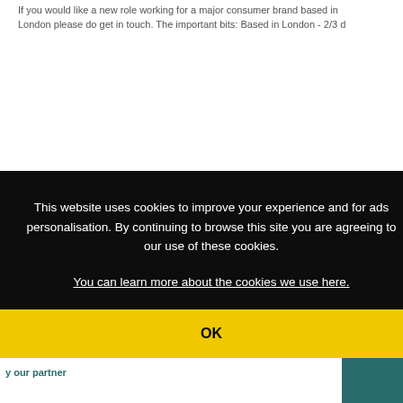If you would like a new role working for a major consumer brand based in London please do get in touch. The important bits: Based in London - 2/3 d
This website uses cookies to improve your experience and for ads personalisation. By continuing to browse this site you are agreeing to our use of these cookies.
You can learn more about the cookies we use here.
OK